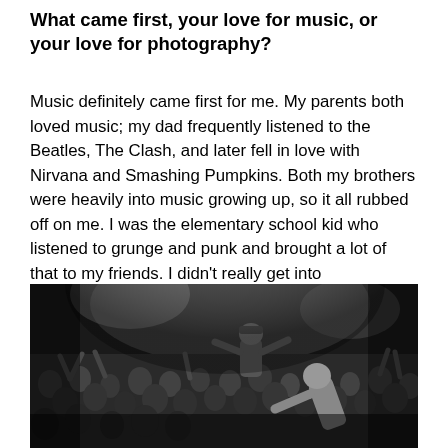What came first, your love for music, or your love for photography?
Music definitely came first for me. My parents both loved music; my dad frequently listened to the Beatles, The Clash, and later fell in love with Nirvana and Smashing Pumpkins. Both my brothers were heavily into music growing up, so it all rubbed off on me. I was the elementary school kid who listened to grunge and punk and brought a lot of that to my friends. I didn't really get into photography until about 2003-2004.
[Figure (photo): Black and white photograph of a concert crowd scene. A performer is crowd surfing or standing elevated above the audience with arms outstretched, wearing a cap. In the foreground, another performer leans forward toward the crowd. The venue is packed with people, the lighting is dramatic from above.]